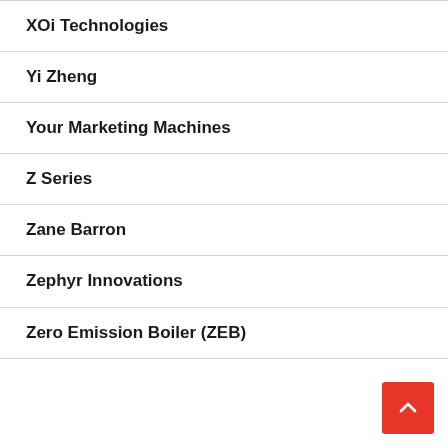XOi Technologies
Yi Zheng
Your Marketing Machines
Z Series
Zane Barron
Zephyr Innovations
Zero Emission Boiler (ZEB)